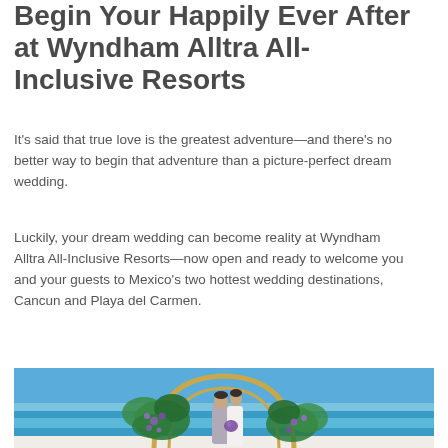Begin Your Happily Ever After at Wyndham Alltra All-Inclusive Resorts
It’s said that true love is the greatest adventure—and there’s no better way to begin that adventure than a picture-perfect dream wedding.
Luckily, your dream wedding can become reality at Wyndham Alltra All-Inclusive Resorts—now open and ready to welcome you and your guests to Mexico’s two hottest wedding destinations, Cancun and Playa del Carmen.
[Figure (photo): A couple sharing a romantic moment under a gold circular arch decorated with tropical monstera leaves and purple flowers, with a turquoise ocean and blue sky in the background.]